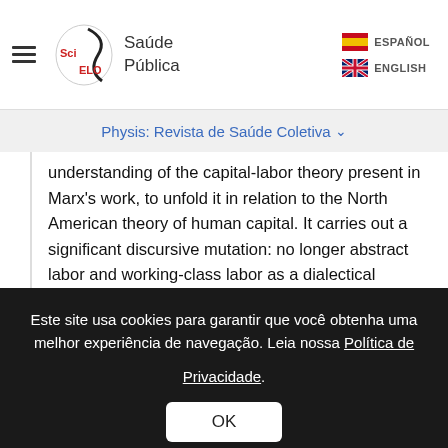SciELO Saúde Pública — ESPAÑOL / ENGLISH
Physis: Revista de Saúde Coletiva
understanding of the capital-labor theory present in Marx's work, to unfold it in relation to the North American theory of human capital. It carries out a significant discursive mutation: no longer abstract labor and working-class labor as a dialectical opposition to the historical reality of capital, but qualification of the human capital of labor itself and capital increase.
This metamorphosis opens up space for workers to see themselves as entrepreneurs of themselves;
Este site usa cookies para garantir que você obtenha uma melhor experiência de navegação. Leia nossa Política de Privacidade.